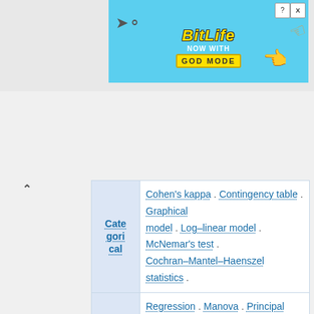[Figure (photo): BitLife advertisement banner — 'NOW WITH GOD MODE' on cyan background with cartoon hands]
| Category | Topics |
| --- | --- |
| Categorical | Cohen's kappa . Contingency table . Graphical model . Log-linear model . McNemar's test . Cochran-Mantel-Haenszel statistics . |
| Multivariate | Regression . Manova . Principal components . Canonical correlation . Discriminant analysis . Cluster analysis . Classification . Structural equation model . Factor analysis . . Multivariate distributions . Elliptical distributions . Normal . |